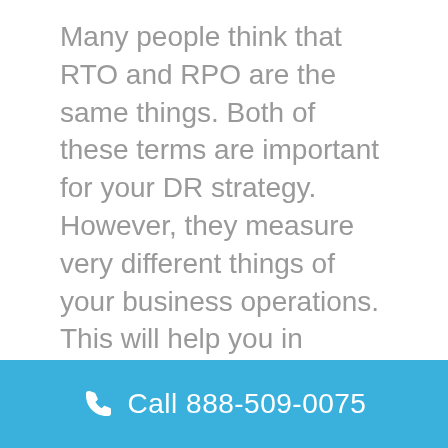Many people think that RTO and RPO are the same things. Both of these terms are important for your DR strategy. However, they measure very different things of your business operations. This will help you in determining the scope of your DR plan. In simple words, RTO will consider all your technology devices. Thus, it is good for understanding the role of your technology stack. It will help you in understanding the impact of...
Call 888-509-0075